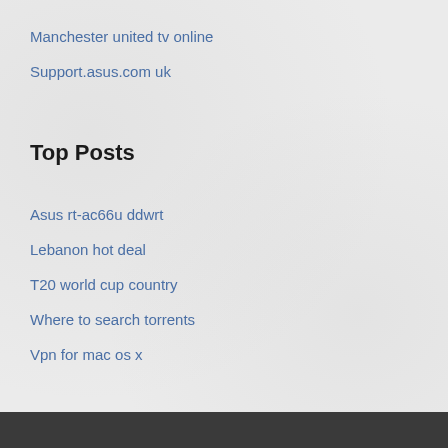Manchester united tv online
Support.asus.com uk
Top Posts
Asus rt-ac66u ddwrt
Lebanon hot deal
T20 world cup country
Where to search torrents
Vpn for mac os x